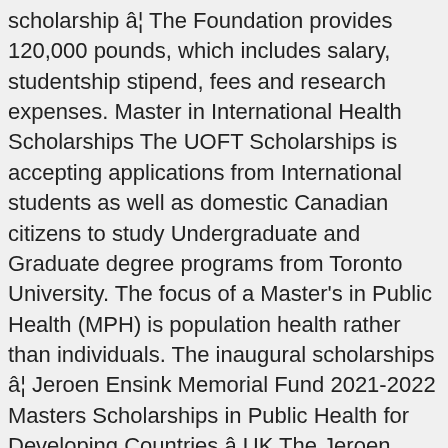scholarship â¦ The Foundation provides 120,000 pounds, which includes salary, studentship stipend, fees and research expenses. Master in International Health Scholarships The UOFT Scholarships is accepting applications from International students as well as domestic Canadian citizens to study Undergraduate and Graduate degree programs from Toronto University. The focus of a Master's in Public Health (MPH) is population health rather than individuals. The inaugural scholarships â¦ Jeroen Ensink Memorial Fund 2021-2022 Masters Scholarships in Public Health for Developing Countries â UK The Jeroen Ensink Memorial scholarship is offered to students from sub-Saharan Africa and â¦ public health scholarships for international students MSc Scholarships in Global and International Health public health graduate school scholarships Senior Fellowships in Public Health and Tropical Medicine. More: Fellowships in Public Health » Public Health Nursing Scholarships. Master in Public Health Scholarships » Health Education - Study Public Health. Africa Scholarships » mph scholarships for developing countries mph scholarships Commonwealth